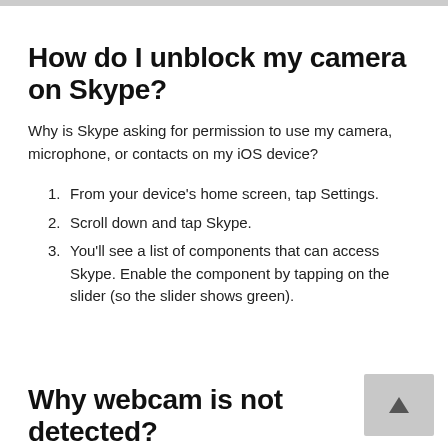How do I unblock my camera on Skype?
Why is Skype asking for permission to use my camera, microphone, or contacts on my iOS device?
From your device’s home screen, tap Settings.
Scroll down and tap Skype.
You’ll see a list of components that can access Skype. Enable the component by tapping on the slider (so the slider shows green).
Why webcam is not detected?